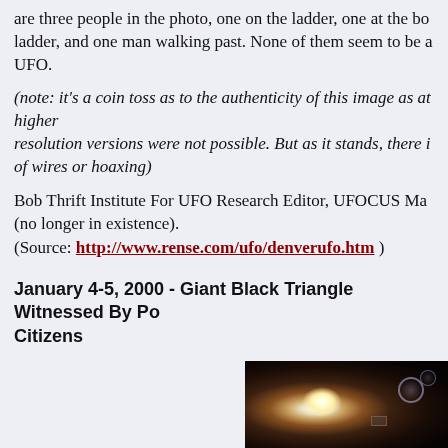are three people in the photo, one on the ladder, one at the bottom of the ladder, and one man walking past. None of them seem to be aware of the UFO.
(note: it's a coin toss as to the authenticity of this image as at higher resolution versions were not possible. But as it stands, there is no sign of wires or hoaxing)
Bob Thrift Institute For UFO Research Editor, UFOCUS Magazine (no longer in existence).
(Source: http://www.rense.com/ufo/denverufo.htm )
January 4-5, 2000 - Giant Black Triangle Witnessed By Police & Citizens
[Figure (photo): Dark photograph showing a bright light source (possible UFO) against a very dark background, with lens flare circles visible]